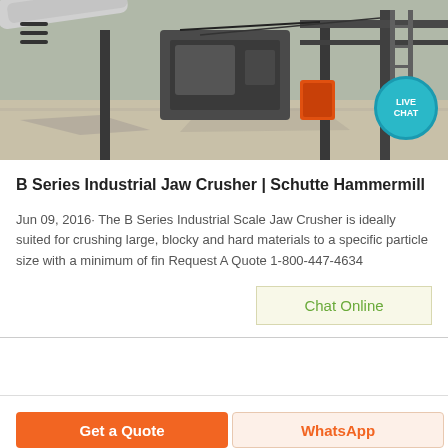[Figure (photo): Industrial jaw crusher machinery installed at a facility, showing heavy metal equipment, pipes, and structural steel frames on a concrete surface.]
B Series Industrial Jaw Crusher | Schutte Hammermill
Jun 09, 2016· The B Series Industrial Scale Jaw Crusher is ideally suited for crushing large, blocky and hard materials to a specific particle size with a minimum of fin Request A Quote 1-800-447-4634
Chat Online
Get a Quote
WhatsApp